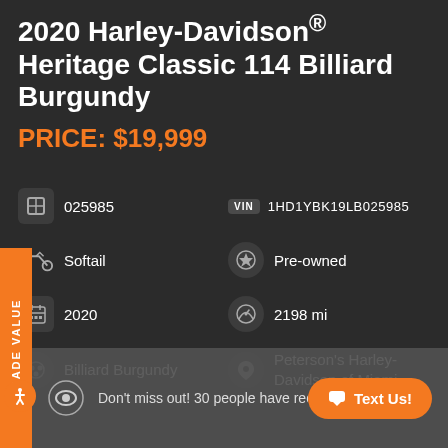2020 Harley-Davidson® Heritage Classic 114 Billiard Burgundy
PRICE: $19,999
# 025985
VIN 1HD1YBK19LB025985
Softail
Pre-owned
2020
2198 mi
Billiard Burgundy
Peterson's Harley-Davidson of Miami
Don't miss out! 30 people have rece...
Text Us!
TRADE VALUE